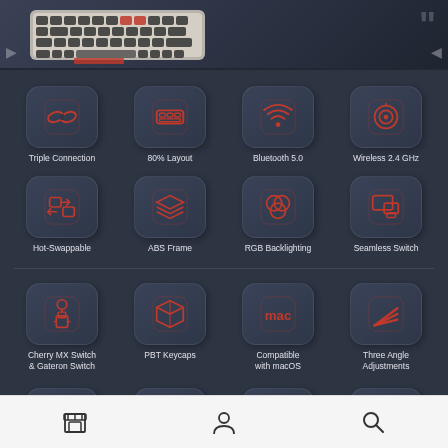[Figure (photo): Photo of a retro-styled mechanical keyboard (Keychron or similar) with red and dark keycaps on a dark background, with large quotation mark graphic on the right]
[Figure (infographic): Feature icons grid: Triple Connection, 80% Layout, Bluetooth 5.0, Wireless 2.4 GHz, Hot-Swappable, ABS Frame, RGB Backlighting, Seamless Switch, Cherry MX Switch & Gateron Switch, PBT Keycaps, Compatible with macOS, Three Angle Adjustments — each with a red-outlined icon on a dark rounded-rectangle background and white label text below]
Bottom navigation bar with store, profile, and search icons